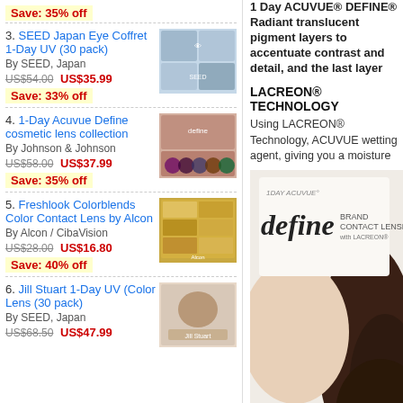Save: 35% off (item 2, partial)
3. SEED Japan Eye Coffret 1-Day UV (30 pack)
By SEED, Japan
US$54.00 US$35.99
Save: 33% off
4. 1-Day Acuvue Define cosmetic lens collection
By Johnson & Johnson
US$58.00 US$37.99
Save: 35% off
5. Freshlook Colorblends Color Contact Lens by Alcon
By Alcon / CibaVision
US$28.00 US$16.80
Save: 40% off
6. Jill Stuart 1-Day UV (Color Lens (30 pack)
By SEED, Japan
US$68.50 US$47.99
1 Day ACUVUE® DEFINE® Radiant translucent pigment layers to accentuate contrast and detail, and the last layer
LACREON® TECHNOLOGY
Using LACREON® Technology, ACUVUE wetting agent, giving you a moisture
[Figure (photo): 1 Day Acuvue Define brand contact lenses product image with model's hair visible]